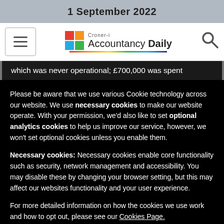1 September 2022
[Figure (logo): Croner-i Accountancy Daily logo with coloured square icon and rainbow underline]
which was never operational; £700,000 was spent
Please be aware that we use various Cookie technology across our website. We use necessary cookies to make our website operate. With your permission, we'd also like to set optional analytics cookies to help us improve our service, however, we won't set optional cookies unless you enable them.
Necessary cookies: Necessary cookies enable core functionality such as security, network management and accessibility. You may disable these by changing your browser setting, but this may affect our websites functionality and your user experience.
For more detailed information on how the cookies we use work and how to opt out, please see our Cookies Page.